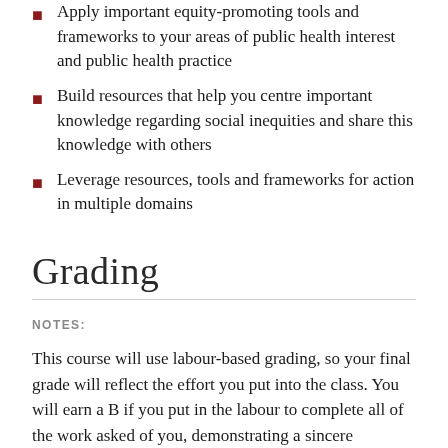Apply important equity-promoting tools and frameworks to your areas of public health interest and public health practice
Build resources that help you centre important knowledge regarding social inequities and share this knowledge with others
Leverage resources, tools and frameworks for action in multiple domains
Grading
NOTES:
This course will use labour-based grading, so your final grade will reflect the effort you put into the class. You will earn a B if you put in the labour to complete all of the work asked of you, demonstrating a sincere intention. For a B, there are four different assignments to complete: (1) journaling, (2)